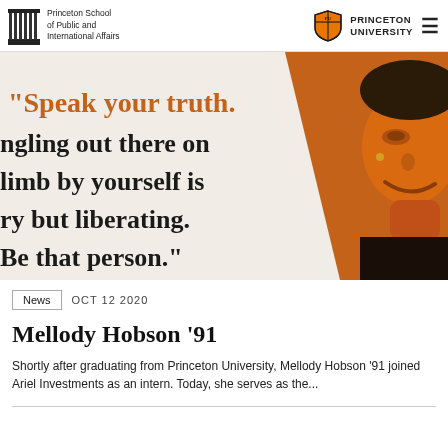Princeton School of Public and International Affairs | PRINCETON UNIVERSITY
[Figure (photo): A decorative image showing a quote 'Speak your truth. ...gling out there on ...imb by yourself is ...ry but liberating. Be that person.' with a woman's face in orange tones on the right side.]
News   OCT 12 2020
Mellody Hobson '91
Shortly after graduating from Princeton University, Mellody Hobson '91 joined Ariel Investments as an intern. Today, she serves as the...